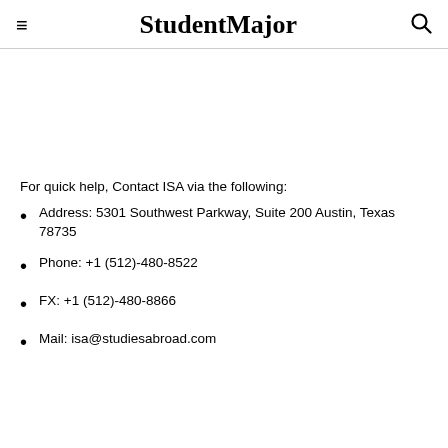StudentMajor
For quick help, Contact ISA via the following:
Address: 5301 Southwest Parkway, Suite 200 Austin, Texas 78735
Phone: +1 (512)-480-8522
FX: +1 (512)-480-8866
Mail: isa@studiesabroad.com